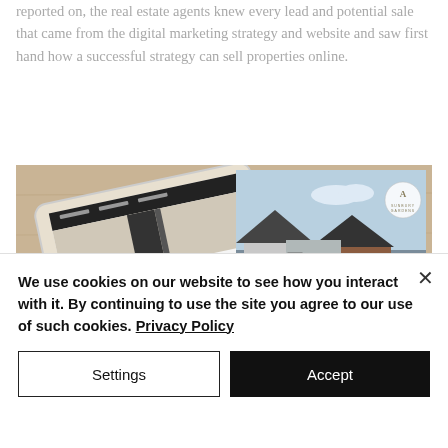reported on, the real estate agents knew every lead and potential sale that came from the digital marketing strategy and website and saw first hand how a successful strategy can sell properties online.
[Figure (photo): A tablet showing a property website layout on a wooden surface, next to a rendered image of a modern residential house with a circular logo overlay.]
We use cookies on our website to see how you interact with it. By continuing to use the site you agree to our use of such cookies. Privacy Policy